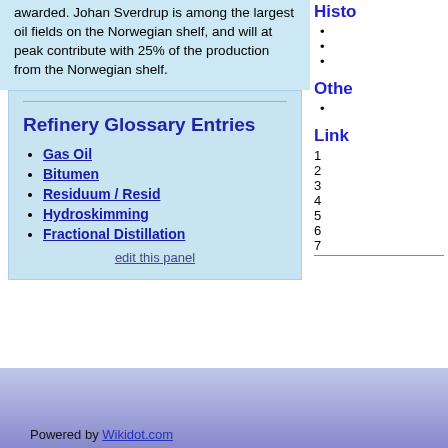awarded. Johan Sverdrup is among the largest oil fields on the Norwegian shelf, and will at peak contribute with 25% of the production from the Norwegian shelf.
Refinery Glossary Entries
Gas Oil
Bitumen
Residuum / Resid
Hydroskimming
Fractional Distillation
edit this panel
Histo
Othe
Link
1
2
3
4
5
6
7
africa
Powered by Wikidot.com